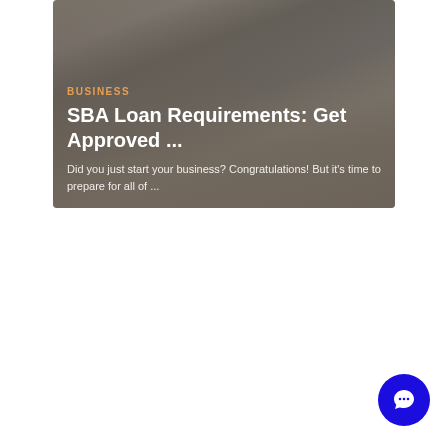[Figure (photo): A card-style article preview with a dark-overlaid photo background showing a jar of coins and business-related items. Contains a category label 'BUSINESS' in orange, a title 'SBA Loan Requirements: Get Approved ...' in white bold text, and an excerpt 'Did you just start your business? Congratulations! But it's time to prepare for all of ...' in light gray text.]
[Figure (other): A circular blue chat button icon in the bottom-right corner of the page.]